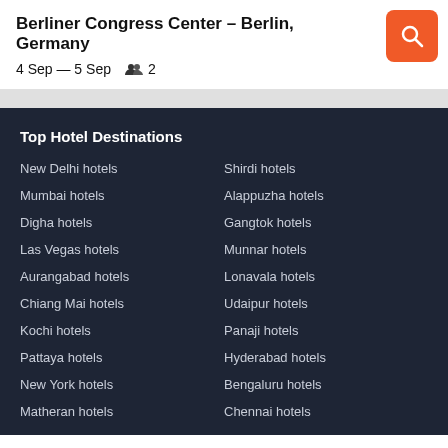Berliner Congress Center – Berlin, Germany
4 Sep — 5 Sep    👥 2
Top Hotel Destinations
New Delhi hotels
Shirdi hotels
Mumbai hotels
Alappuzha hotels
Digha hotels
Gangtok hotels
Las Vegas hotels
Munnar hotels
Aurangabad hotels
Lonavala hotels
Chiang Mai hotels
Udaipur hotels
Kochi hotels
Panaji hotels
Pattaya hotels
Hyderabad hotels
New York hotels
Bengaluru hotels
Matheran hotels
Chennai hotels